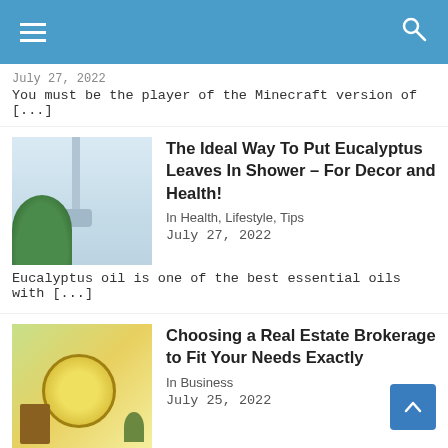≡  🔍
July 27, 2022
You must be the player of the Minecraft version of [...]
[Figure (photo): Shower with eucalyptus leaves and plant in bathroom]
The Ideal Way To Put Eucalyptus Leaves In Shower – For Decor and Health!
In Health, Lifestyle, Tips
July 27, 2022
Eucalyptus oil is one of the best essential oils with [...]
[Figure (photo): Real estate brokerage image with clock and greenery]
Choosing a Real Estate Brokerage to Fit Your Needs Exactly
In Business
July 25, 2022
Before becoming a real estate agent, you should do [...]
[Figure (photo): PS4 gaming controller on dark background]
How to game share on PS4? A complete walkthrough for you!
In Game, Tips